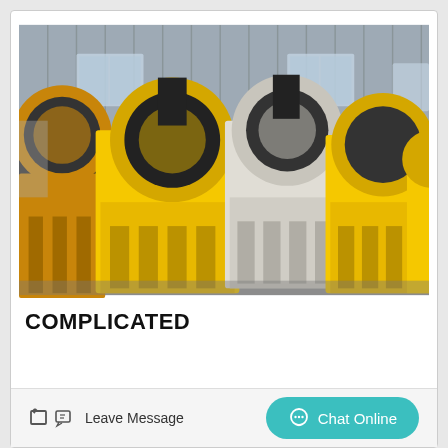[Figure (photo): Multiple yellow and white jaw crusher machines lined up inside an industrial warehouse with corrugated metal walls and concrete floor.]
COMPLICATED
Leave Message
Chat Online